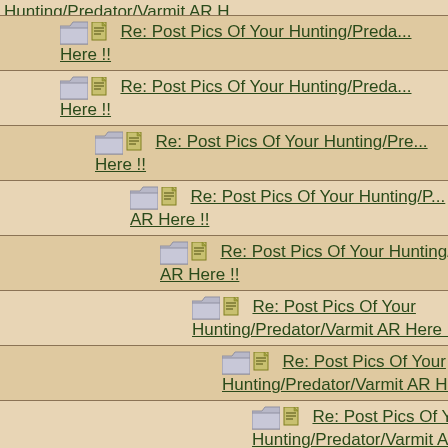Re: Post Pics Of Your Hunting/Predator/Varmit AR Here !!
Re: Post Pics Of Your Hunting/Predator/Varmit AR Here !!
Re: Post Pics Of Your Hunting/Predator/Varmit AR Here !!
Re: Post Pics Of Your Hunting/Predator/Varmit AR Here !!
Re: Post Pics Of Your Hunting/Predator/Varmit AR Here !!
Re: Post Pics Of Your Hunting/Predator/Varmit AR Here !!
Re: Post Pics Of Your Hunting/Predator/Varmit AR Here !!
Re: Post Pics Of Your Hunting/Predator/Varmit AR Here !!
Re: Post Pics Of Your Hunting/Predator/Varmit AR Here !!
Re: Post Pics Of Your Hunting/Predator/Varmit AR Here !!
Re: Post Pics Of Your Hunting/Predator/Varmit AR Here !!